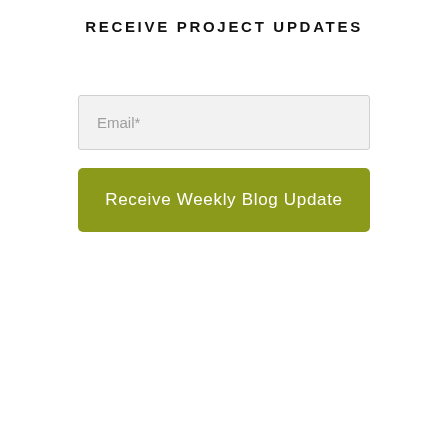RECEIVE PROJECT UPDATES
Email*
Receive Weekly Blog Update